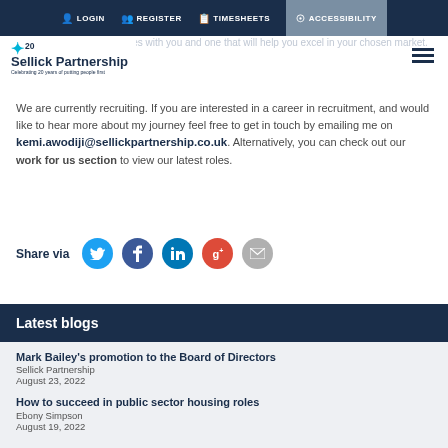LOGIN  REGISTER  TIMESHEETS  ACCESSIBILITY
[Figure (logo): Sellick Partnership logo with star and 20 anniversary mark]
We are currently recruiting. If you are interested in a career in recruitment, and would like to hear more about my journey feel free to get in touch by emailing me on kemi.awodiji@sellickpartnership.co.uk. Alternatively, you can check out our work for us section to view our latest roles.
Share via
Latest blogs
Mark Bailey's promotion to the Board of Directors
Sellick Partnership
August 23, 2022
How to succeed in public sector housing roles
Ebony Simpson
August 19, 2022